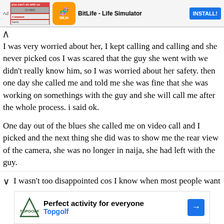[Figure (screenshot): Advertisement banner for BitLife - Life Simulator app with INSTALL! button]
I was very worried about her, I kept calling and calling and she never picked cos I was scared that the guy she went with we didn't really know him, so I was worried about her safety. then one day she called me and told me she was fine that she was working on somethings with the guy and she will call me after the whole process. i said ok.

One day out of the blues she called me on video call and I picked and the next thing she did was to show me the rear view of the camera, she was no longer in naija, she had left with the guy.
I wasn't too disappointed cos I know when most people want
[Figure (screenshot): Advertisement banner for Topgolf - Perfect activity for everyone]